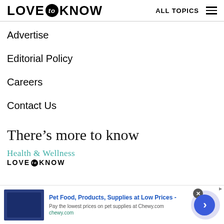LOVE to KNOW   ALL TOPICS
Advertise
Editorial Policy
Careers
Contact Us
There’s more to know
[Figure (logo): Health & Wellness LOVE to KNOW sub-brand logo in teal and black]
Pet Food, Products, Supplies at Low Prices - Pay the lowest prices on pet supplies at Chewy.com chewy.com